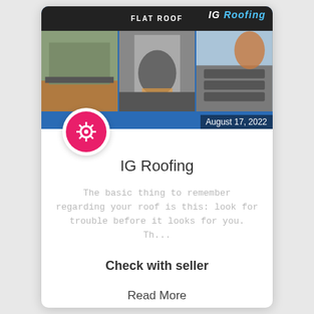[Figure (photo): IG Roofing banner image showing logo at top with dark header bar, and three roofing photos below: a flat roof, workers installing roofing, and a roofer working on shingles. Date overlay reads August 17, 2022.]
[Figure (logo): Circular pink/red avatar icon with white gear/settings icon inside]
IG Roofing
The basic thing to remember regarding your roof is this: look for trouble before it looks for you. Th...
Check with seller
Read More